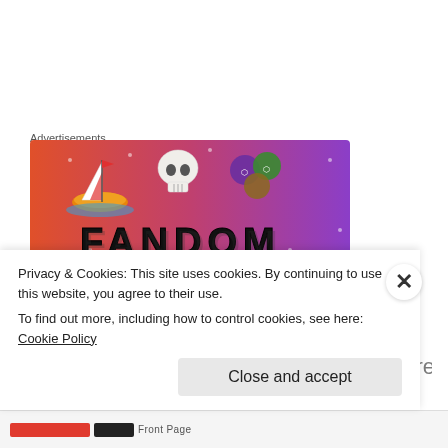Advertisements
[Figure (illustration): Fandom advertisement banner with colorful gradient background (orange to purple), featuring a sailboat, skull, dice, and the word FANDOM in large block letters with decorative doodles.]
At about 45 minutes in, check the squash to see how soft it is. You want to check a few spots. If a fork doesn't go in
easily, it needs more time. Make sure there is still liquid in
Privacy & Cookies: This site uses cookies. By continuing to use this website, you agree to their use.
To find out more, including how to control cookies, see here: Cookie Policy
Close and accept